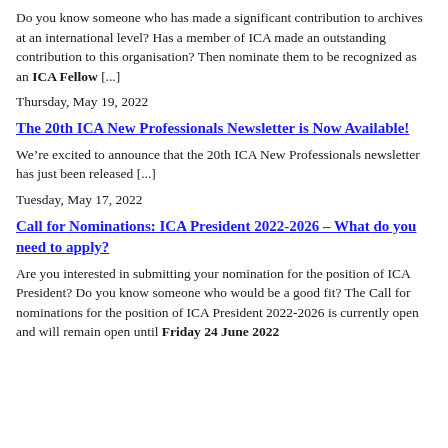Do you know someone who has made a significant contribution to archives at an international level? Has a member of ICA made an outstanding contribution to this organisation? Then nominate them to be recognized as an ICA Fellow [...]
Thursday, May 19, 2022
The 20th ICA New Professionals Newsletter is Now Available!
We’re excited to announce that the 20th ICA New Professionals newsletter has just been released [...]
Tuesday, May 17, 2022
Call for Nominations: ICA President 2022-2026 – What do you need to apply?
Are you interested in submitting your nomination for the position of ICA President? Do you know someone who would be a good fit? The Call for nominations for the position of ICA President 2022-2026 is currently open and will remain open until Friday 24 June 2022